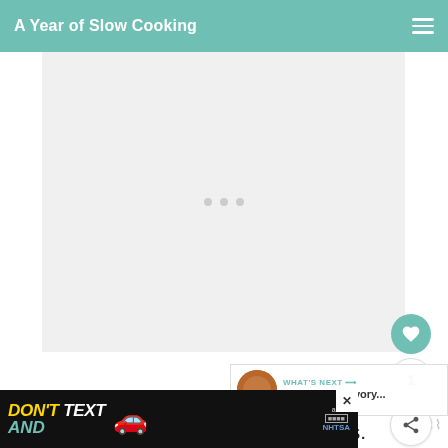A Year of Slow Cooking
[Figure (screenshot): Large white/light gray image placeholder area with three small gray loading dots centered]
[Figure (infographic): Social sidebar with heart/like button (teal circle with heart icon), count '1', and share button]
[Figure (infographic): What's Next banner with thumbnail image and text 'Sweet and Savory...']
Cover and cook on low for 8-10 hours. There
[Figure (infographic): Ad banner: DON'T TEXT AND [car emoji] with NHTSA ad badge and close button]